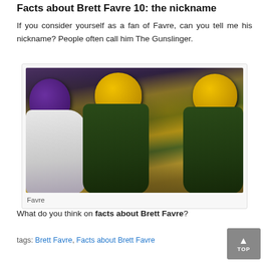Facts about Brett Favre 10: the nickname
If you consider yourself as a fan of Favre, can you tell me his nickname? People often call him The Gunslinger.
[Figure (photo): Football players on the field — a Minnesota Vikings player in purple helmet and white jersey facing Green Bay Packers players in yellow helmets and dark green jerseys]
Favre
What do you think on facts about Brett Favre?
tags: Brett Favre, Facts about Brett Favre